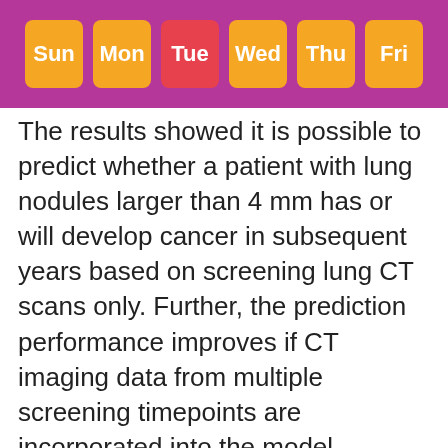Sun Mon Tue Wed Thu Fri
The results showed it is possible to predict whether a patient with lung nodules larger than 4 mm has or will develop cancer in subsequent years based on screening lung CT scans only. Further, the prediction performance improves if CT imaging data from multiple screening timepoints are incorporated into the model.
"What differentiates our study is that we're not just interested in the current state of the tumor. We are also trying to see if the patient will develop cancer three or four years down the line," Dr. Mukherjee said. "This information could help doctors make